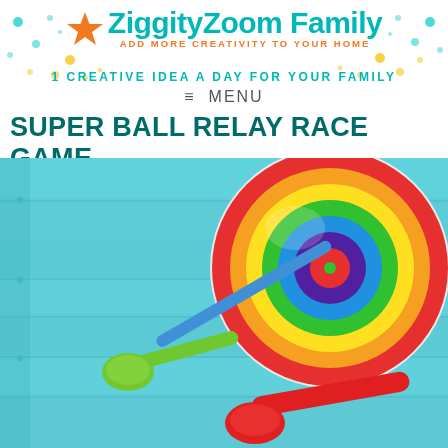ZiggityZoom Family — ADD MORE CREATIVITY TO YOUR HOME
1 CREATIVE IDEA A DAY FOR YOUR FAMILY
≡  MENU
SUPER BALL RELAY RACE GAME
[Figure (photo): A colorful striped ball with concentric rainbow circles sits on a light blue wooden table surface alongside two plastic measuring spoons — one green and one red.]